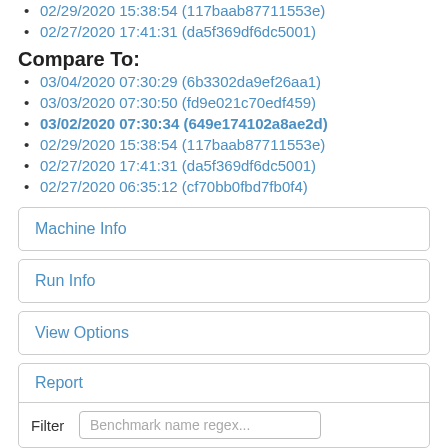02/29/2020 15:38:54 (117baab87711553e)
02/27/2020 17:41:31 (da5f369df6dc5001)
Compare To:
03/04/2020 07:30:29 (6b3302da9ef26aa1)
03/03/2020 07:30:50 (fd9e021c70edf459)
03/02/2020 07:30:34 (649e174102a8ae2d)
02/29/2020 15:38:54 (117baab87711553e)
02/27/2020 17:41:31 (da5f369df6dc5001)
02/27/2020 06:35:12 (cf70bb0fbd7fb0f4)
Machine Info
Run Info
View Options
Report
Filter  Benchmark name regex...